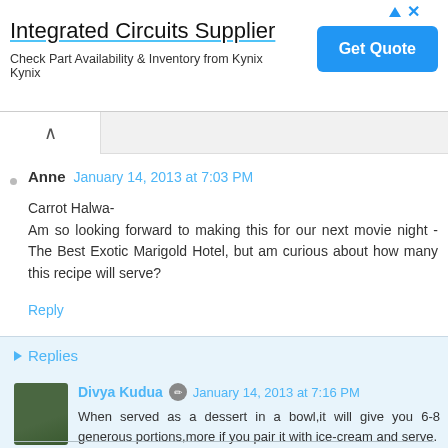[Figure (screenshot): Advertisement banner for Integrated Circuits Supplier - Kynix, with a blue Get Quote button and ad corner icons]
Anne  January 14, 2013 at 7:03 PM
Carrot Halwa-
Am so looking forward to making this for our next movie night - The Best Exotic Marigold Hotel, but am curious about how many this recipe will serve?
Reply
Replies
Divya Kudua  January 14, 2013 at 7:16 PM
When served as a dessert in a bowl,it will give you 6-8 generous portions,more if you pair it with ice-cream and serve.